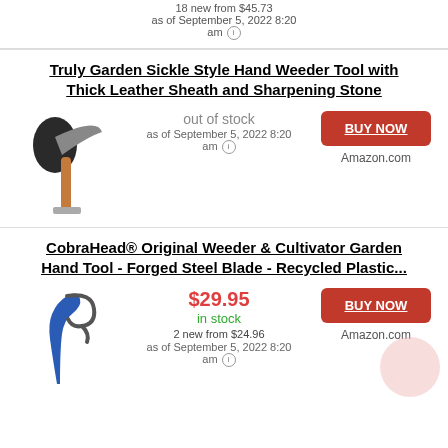18 new from $45.73
as of September 5, 2022 8:20 am
Truly Garden Sickle Style Hand Weeder Tool with Thick Leather Sheath and Sharpening Stone
out of stock
as of September 5, 2022 8:20 am
BUY NOW
Amazon.com
CobraHead® Original Weeder & Cultivator Garden Hand Tool - Forged Steel Blade - Recycled Plastic...
$29.95
in stock
2 new from $24.96
as of September 5, 2022 8:20 am
BUY NOW
Amazon.com